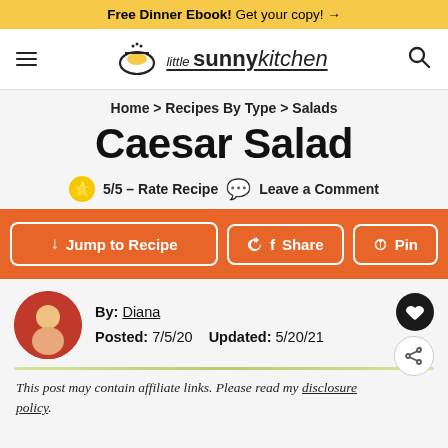Free Dinner Ebook! Get your copy! →
[Figure (logo): Little Sunny Kitchen logo with bowl icon, hamburger menu and search icon]
Home › Recipes By Type › Salads
Caesar Salad
⭐ 5/5 – Rate Recipe 💬 Leave a Comment
↓ Jump to Recipe   f Share   📌 Pin
By: Diana   Posted: 7/5/20   Updated: 5/20/21
This post may contain affiliate links. Please read my disclosure policy.